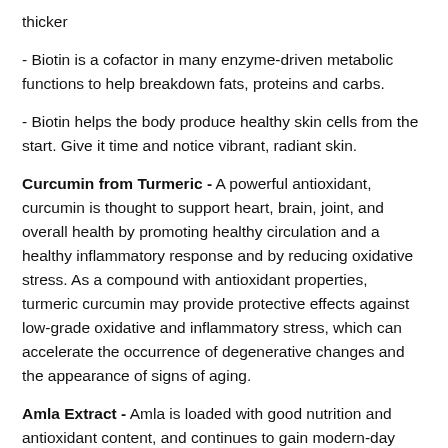thicker
- Biotin is a cofactor in many enzyme-driven metabolic functions to help breakdown fats, proteins and carbs.
- Biotin helps the body produce healthy skin cells from the start. Give it time and notice vibrant, radiant skin.
Curcumin from Turmeric - A powerful antioxidant, curcumin is thought to support heart, brain, joint, and overall health by promoting healthy circulation and a healthy inflammatory response and by reducing oxidative stress. As a compound with antioxidant properties, turmeric curcumin may provide protective effects against low-grade oxidative and inflammatory stress, which can accelerate the occurrence of degenerative changes and the appearance of signs of aging.
Amla Extract - Amla is loaded with good nutrition and antioxidant content, and continues to gain modern-day fame as rejuvenating cell-protector. Our Amla extract has numerous benefits for men and women to help Nourish their Scalp and Roots, Promoting the Growth of Long and Healthy Hair.